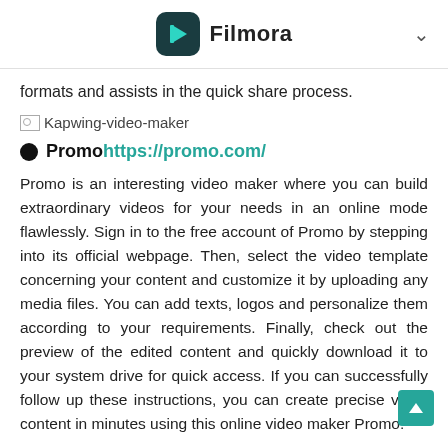Filmora
formats and assists in the quick share process.
[Figure (photo): Broken image placeholder labeled Kapwing-video-maker]
● Promo https://promo.com/
Promo is an interesting video maker where you can build extraordinary videos for your needs in an online mode flawlessly. Sign in to the free account of Promo by stepping into its official webpage. Then, select the video template concerning your content and customize it by uploading any media files. You can add texts, logos and personalize them according to your requirements. Finally, check out the preview of the edited content and quickly download it to your system drive for quick access. If you can successfully follow up these instructions, you can create precise video content in minutes using this online video maker Promo.
This online version offers the necessary library of templates in